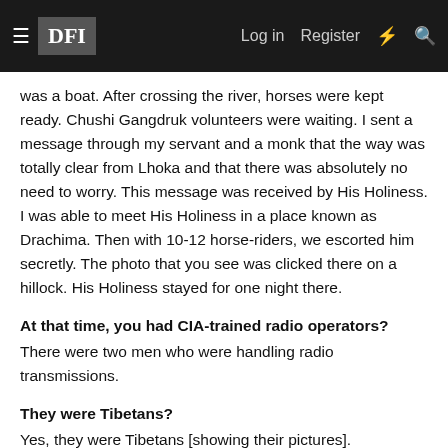DFI | Log in | Register
was a boat. After crossing the river, horses were kept ready. Chushi Gangdruk volunteers were waiting. I sent a message through my servant and a monk that the way was totally clear from Lhoka and that there was absolutely no need to worry. This message was received by His Holiness. I was able to meet His Holiness in a place known as Drachima. Then with 10-12 horse-riders, we escorted him secretly. The photo that you see was clicked there on a hillock. His Holiness stayed for one night there.
At that time, you had CIA-trained radio operators?
There were two men who were handling radio transmissions.
They were Tibetans?
Yes, they were Tibetans [showing their pictures].
Was it a smooth journey between Norbulingka and Tawang?
We had snowfalls due to which we faced many difficulties; horses were unable to walk on the snow and even for humans it